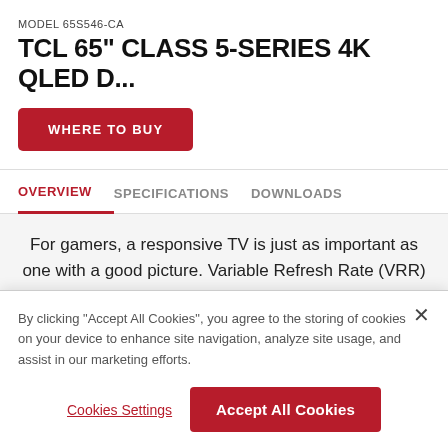MODEL 65S546-CA
TCL 65" CLASS 5-SERIES 4K QLED D...
WHERE TO BUY
OVERVIEW
SPECIFICATIONS
DOWNLOADS
For gamers, a responsive TV is just as important as one with a good picture. Variable Refresh Rate (VRR) and Auto Game Mode (ALLM) ensure you'll
By clicking "Accept All Cookies", you agree to the storing of cookies on your device to enhance site navigation, analyze site usage, and assist in our marketing efforts.
Cookies Settings
Accept All Cookies